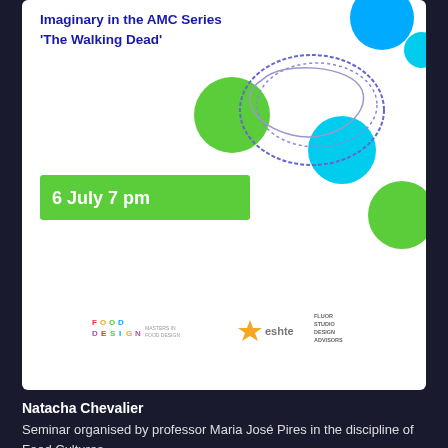[Figure (illustration): White card with title text about Imaginary in the AMC Series The Walking Dead, decorative colorful circles (green, cyan, blue), hand-drawn scribble, date badge '6 July 7 pm' in green, and sponsor logos for Food Design Masters, eshte, and Fluor Studio Design Advisors]
Natacha Chevalier
Seminar organised by professor Maria José Pires in the discipline of Food Cultures.
[Figure (photo): Colorful image with green background and colorful decorative circles (cyan, red, dark blue) — bottom portion of event promotional material]